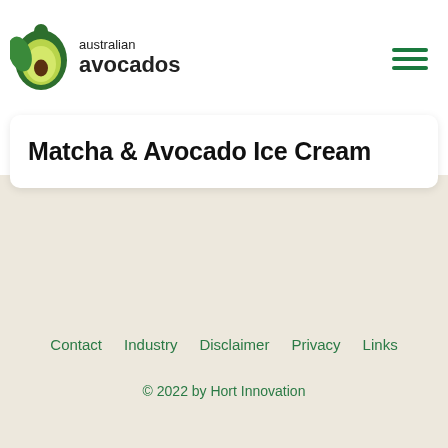[Figure (logo): Australian Avocados logo with avocado icon and text 'australian avocados']
Matcha & Avocado Ice Cream
Contact   Industry   Disclaimer   Privacy   Links
© 2022 by Hort Innovation